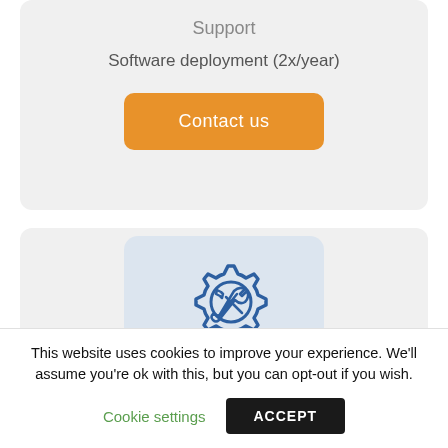Support
Software deployment (2x/year)
Contact us
[Figure (illustration): A gear/settings icon with wrench and screwdriver tools crossed inside, drawn in blue outline style on a light blue-grey rounded square background.]
This website uses cookies to improve your experience. We'll assume you're ok with this, but you can opt-out if you wish.
Cookie settings
ACCEPT